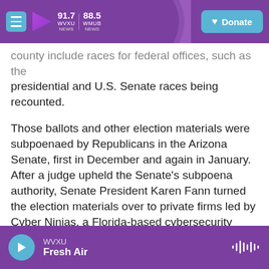91.7 WVXU NEWS | 88.5 WHUB NEWS | Donate
county include races for federal offices, such as the presidential and U.S. Senate races being recounted.
Those ballots and other election materials were subpoenaed by Republicans in the Arizona Senate, first in December and again in January. After a judge upheld the Senate's subpoena authority, Senate President Karen Fann turned the election materials over to private firms led by Cyber Ninjas, a Florida-based cybersecurity company critics say is unqualified to review the 2020 election.
"We have a concern that Maricopa County election records, which are required by federal law to be
WVXU | Fresh Air